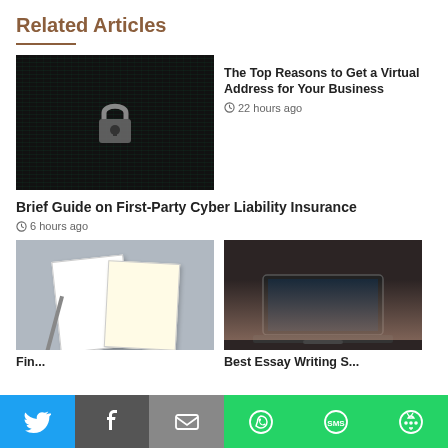Related Articles
[Figure (photo): Dark cybersecurity background with code and a padlock icon]
The Top Reasons to Get a Virtual Address for Your Business
22 hours ago
Brief Guide on First-Party Cyber Liability Insurance
6 hours ago
[Figure (photo): Documents and papers with a pen on a grey surface]
[Figure (photo): Person typing on a laptop at a desk]
[Figure (infographic): Social sharing bar with Twitter, Facebook, Email, WhatsApp, SMS, and More buttons]